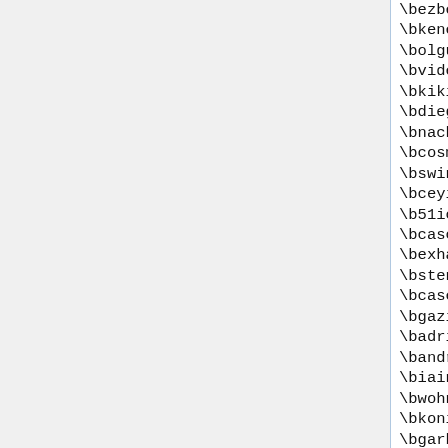\bezber\.org\b
\bkenehastaligi\.com\b
\bolgu\.org\b
\bvideocix\.com\b
\bkikindai\.hu\b
\bdiegovelazquez\.(110mb\.com|
\bnachobenjumea\.atspace\.org\
\bcosmoetica\.com\b
\bswinoujscie\.travel\.pl\b
\bceyiz\.com\b
\b51icjm\.com\b
\bcascadafan\.de\b
\bexhauss-ibnkhaldoun\.com\.tn\
\bstencils\.ch\b
\bcasesdecastalla(\.blogspot)?\
\bgazipasam\.com\b
\badriatic\.wikidot\.com\b
\bandroid-phone\.org\b
\biaindustrie\.fr\.nf\b
\bwohnprojekte-berlin\.info\b
\bkoningin-wilhelmina\.hyves\.
\bgarbagefan\.8k\.com\b
\boutofthedark\.net\.ms\b
\brociomarquez\.com\b
\bbrazilthinks\.blogspot\.com\